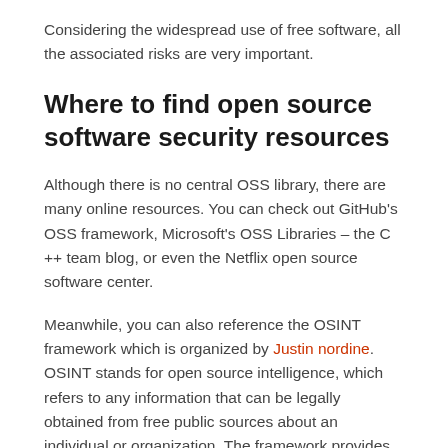Considering the widespread use of free software, all the associated risks are very important.
Where to find open source software security resources
Although there is no central OSS library, there are many online resources. You can check out GitHub's OSS framework, Microsoft's OSS Libraries – the C ++ team blog, or even the Netflix open source software center.
Meanwhile, you can also reference the OSINT framework which is organized by Justin nordine. OSINT stands for open source intelligence, which refers to any information that can be legally obtained from free public sources about an individual or organization. The framework provides links to a giant collection of OSINT tools and resources for different tasks. These can range from geolocation of IP addresses to vulnerability analysis